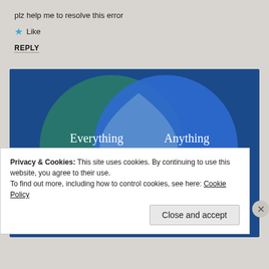plz help me to resolve this error
★ Like
REPLY
[Figure (infographic): Venn diagram with two overlapping circles on a dark blue background. Left circle is teal/green with text 'Everything you need'. Right circle is blue with text 'Anything you want'. The overlapping area is a lighter blue/silver lens shape. A pink/magenta bar and a circular icon are partially visible at the bottom.]
Privacy & Cookies: This site uses cookies. By continuing to use this website, you agree to their use.
To find out more, including how to control cookies, see here: Cookie Policy
Close and accept